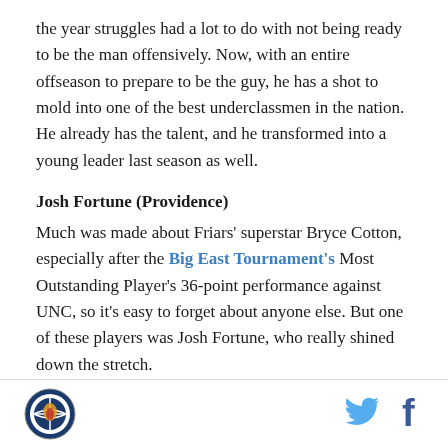the year struggles had a lot to do with not being ready to be the man offensively. Now, with an entire offseason to prepare to be the guy, he has a shot to mold into one of the best underclassmen in the nation. He already has the talent, and he transformed into a young leader last season as well.
Josh Fortune (Providence)
Much was made about Friars' superstar Bryce Cotton, especially after the Big East Tournament's Most Outstanding Player's 36-point performance against UNC, so it's easy to forget about anyone else. But one of these players was Josh Fortune, who really shined down the stretch.
[Figure (logo): Providence Friars circular logo with basketball design]
[Figure (logo): Twitter bird icon in blue]
[Figure (logo): Facebook 'f' icon in dark blue]